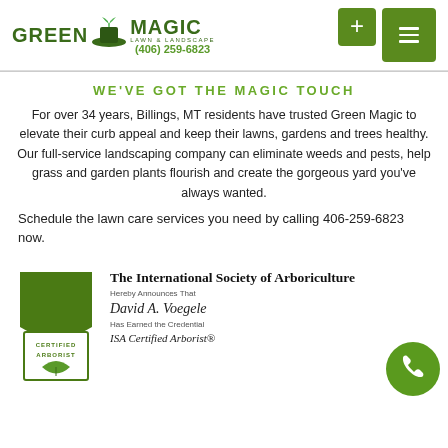[Figure (logo): Green Magic Lawn & Landscape logo with plant/hat icon and phone number (406) 259-6823]
WE'VE GOT THE MAGIC TOUCH
For over 34 years, Billings, MT residents have trusted Green Magic to elevate their curb appeal and keep their lawns, gardens and trees healthy. Our full-service landscaping company can eliminate weeds and pests, help grass and garden plants flourish and create the gorgeous yard you've always wanted.
Schedule the lawn care services you need by calling 406-259-6823 now.
[Figure (illustration): ISA Certified Arborist badge/shield logo in green]
The International Society of Arboriculture
Hereby Announces That
David A. Voegele
Has Earned the Credential
ISA Certified Arborist®
[Figure (illustration): Green circle phone icon button]